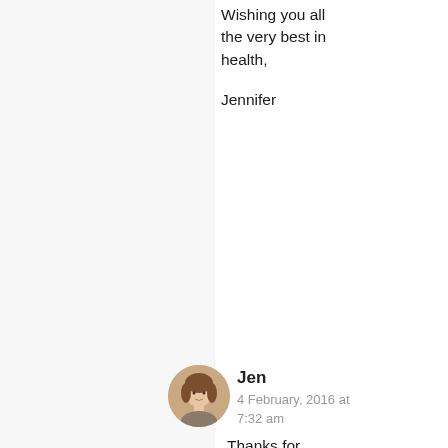Wishing you all the very best in health,

Jennifer
Jen
4 February, 2016 at 7:32 am
[Figure (photo): Circular avatar photo of a woman with brown hair]
Thanks for sharing your insights, Jennifer. I really appreciate your time and thoughts in all this. I'm going to continue with the raw diet. I